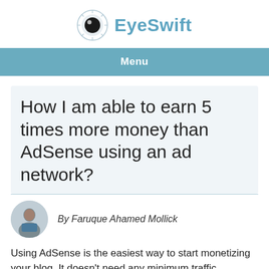EyeSwift
Menu
How I am able to earn 5 times more money than AdSense using an ad network?
By Faruque Ahamed Mollick
Using AdSense is the easiest way to start monetizing your blog. It doesn't need any minimum traffic requirements to get approved. If